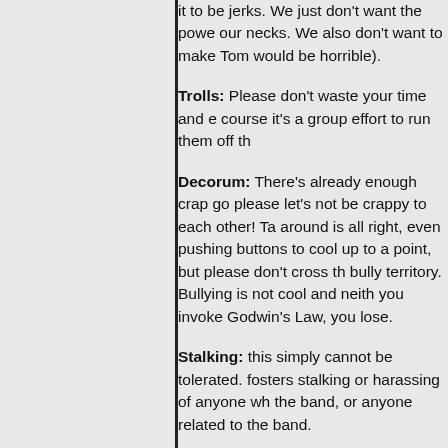it to be jerks. We just don't want the power over our necks. We also don't want to make Tom... would be horrible).
Trolls: Please don't waste your time and e... course it's a group effort to run them off th...
Decorum: There's already enough crap go... please let's not be crappy to each other! Ta... around is all right, even pushing buttons to... cool up to a point, but please don't cross th... bully territory. Bullying is not cool and neith... you invoke Godwin's Law, you lose.
Stalking: this simply cannot be tolerated. ... fosters stalking or harassing of anyone wh... the band, or anyone related to the band.
Spam: I know it's hard but please don't res... are now enough people to keep this place s...